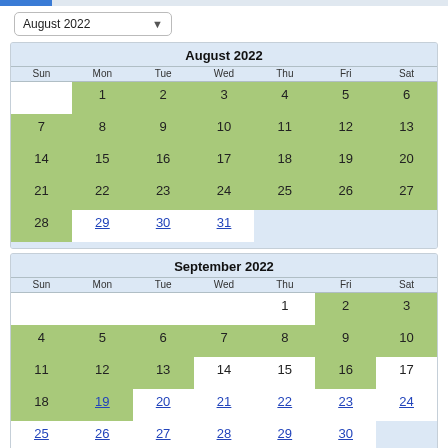August 2022
| Sun | Mon | Tue | Wed | Thu | Fri | Sat |
| --- | --- | --- | --- | --- | --- | --- |
|  | 1 | 2 | 3 | 4 | 5 | 6 |
| 7 | 8 | 9 | 10 | 11 | 12 | 13 |
| 14 | 15 | 16 | 17 | 18 | 19 | 20 |
| 21 | 22 | 23 | 24 | 25 | 26 | 27 |
| 28 | 29 | 30 | 31 |  |  |  |
| Sun | Mon | Tue | Wed | Thu | Fri | Sat |
| --- | --- | --- | --- | --- | --- | --- |
|  |  |  |  | 1 | 2 | 3 |
| 4 | 5 | 6 | 7 | 8 | 9 | 10 |
| 11 | 12 | 13 | 14 | 15 | 16 | 17 |
| 18 | 19 | 20 | 21 | 22 | 23 | 24 |
| 25 | 26 | 27 | 28 | 29 | 30 |  |
Available check in dates are underlined and the color blue.
Check In Date: